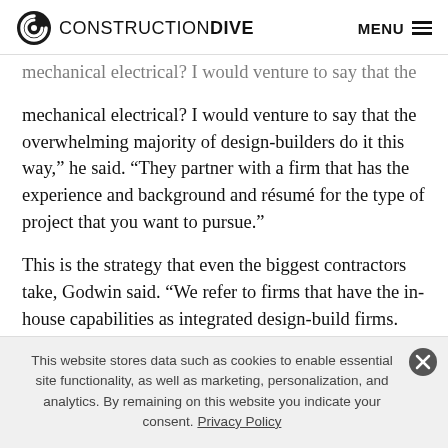CONSTRUCTION DIVE  MENU
mechanical electrical? I would venture to say that the overwhelming majority of design-builders do it this way,” he said. “They partner with a firm that has the experience and background and résumé for the type of project that you want to pursue.”
This is the strategy that even the biggest contractors take, Godwin said. “We refer to firms that have the in-house capabilities as integrated design-build firms. There are
This website stores data such as cookies to enable essential site functionality, as well as marketing, personalization, and analytics. By remaining on this website you indicate your consent. Privacy Policy